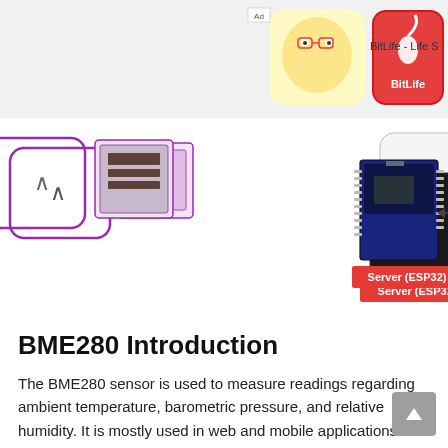[Figure (screenshot): Advertisement banner showing BitLife - Life S app with a cartoon baby and sperm mascot on a red/orange background]
[Figure (engineering-diagram): Partial diagram showing an ESP32 server module with an arrow labeled 'Event Source /events' pointing left from a mobile phone client (Browser) displaying '976.49 hPa' pressure reading. Labeled Server (ESP32) and Client (Brower).]
BME280 Introduction
The BME280 sensor is used to measure readings regarding ambient temperature, barometric pressure, and relative humidity. It is mostly used in web and mobile applications where low power consumption is key. This sensor uses I2C or SPI to communicate data with the micro-controllers. Although there are several